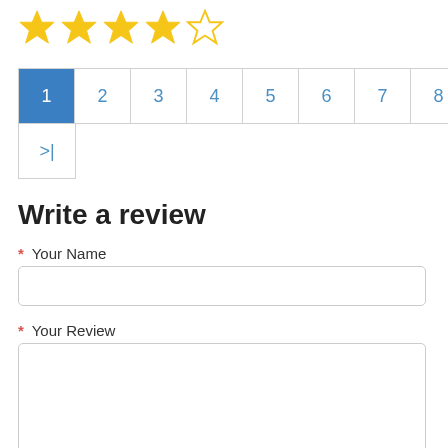[Figure (other): 4 filled gold stars and 1 empty/outline star rating display]
[Figure (other): Pagination control showing pages 1-9 and > on first row, >| on second row. Page 1 is active (blue background).]
Write a review
* Your Name
* Your Review